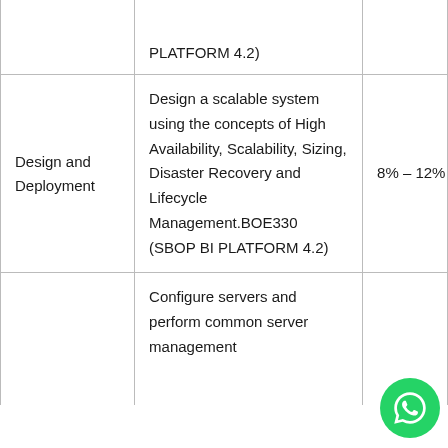|  |  |  |
| --- | --- | --- |
|  | PLATFORM 4.2) |  |
| Design and Deployment | Design a scalable system using the concepts of High Availability, Scalability, Sizing, Disaster Recovery and Lifecycle Management.BOE330 (SBOP BI PLATFORM 4.2) | 8% – 12% |
|  | Configure servers and perform common server management |  |